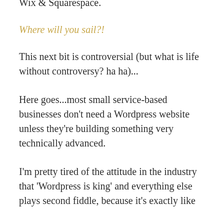it's why I love template building sites such as Wix & Squarespace.
Where will you sail?!
This next bit is controversial (but what is life without controversy? ha ha)...
Here goes...most small service-based businesses don't need a Wordpress website unless they're building something very technically advanced.
I'm pretty tired of the attitude in the industry that 'Wordpress is king' and everything else plays second fiddle, because it's exactly like